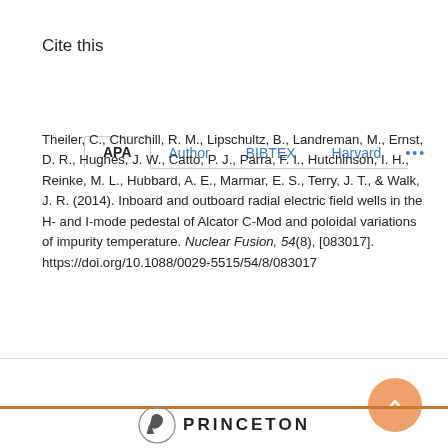Cite this
APA | Author | BIBTEX | Harvard | ...
Theiler, C., Churchill, R. M., Lipschultz, B., Landreman, M., Ernst, D. R., Hughes, J. W., Catto, P. J., Parra, F. I., Hutchinson, I. H., Reinke, M. L., Hubbard, A. E., Marmar, E. S., Terry, J. T., & Walk, J. R. (2014). Inboard and outboard radial electric field wells in the H- and I-mode pedestal of Alcator C-Mod and poloidal variations of impurity temperature. Nuclear Fusion, 54(8), [083017]. https://doi.org/10.1088/0029-5515/54/8/083017
[Figure (logo): Princeton University logo with shield icon and PRINCETON text]